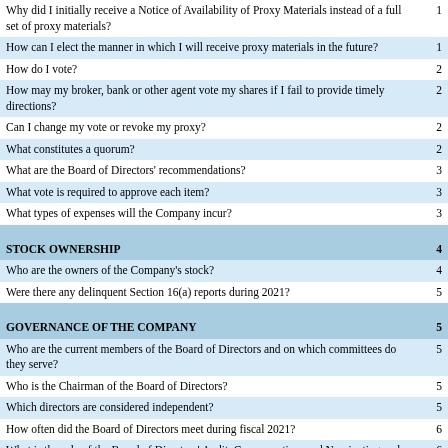| Question | Page |
| --- | --- |
| Why did I initially receive a Notice of Availability of Proxy Materials instead of a full set of proxy materials? | 1 |
| How can I elect the manner in which I will receive proxy materials in the future? | 1 |
| How do I vote? | 2 |
| How may my broker, bank or other agent vote my shares if I fail to provide timely directions? | 2 |
| Can I change my vote or revoke my proxy? | 2 |
| What constitutes a quorum? | 2 |
| What are the Board of Directors' recommendations? | 3 |
| What vote is required to approve each item? | 3 |
| What types of expenses will the Company incur? | 3 |
| STOCK OWNERSHIP | 4 |
| Who are the owners of the Company's stock? | 4 |
| Were there any delinquent Section 16(a) reports during 2021? | 5 |
| GOVERNANCE OF THE COMPANY | 5 |
| Who are the current members of the Board of Directors and on which committees do they serve? | 5 |
| Who is the Chairman of the Board of Directors? | 5 |
| Which directors are considered independent? | 5 |
| How often did the Board of Directors meet during fiscal 2021? | 6 |
| What is the role of the Board of Directors' Audit, Compensation, and Nominating and Corporate Governance Committees? | 6 |
| What is the composition of the Board of Directors? | 7 |
| What is the Board of Directors' role in risk oversight? | 7 |
| How are directors compensated? | 8 |
| How should shareholders communicate with the Board of Directors? | 8 |